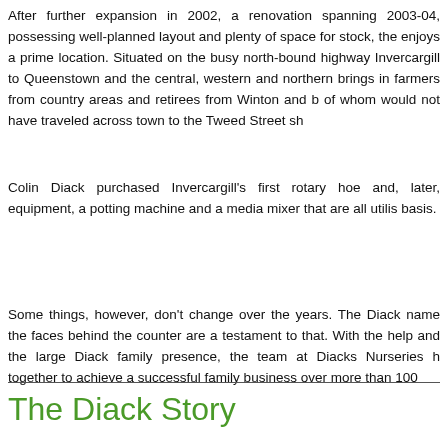After further expansion in 2002, a renovation spanning 2003-04, possessing well-planned layout and plenty of space for stock, the enjoys a prime location. Situated on the busy north-bound highway Invercargill to Queenstown and the central, western and northern brings in farmers from country areas and retirees from Winton and b of whom would not have traveled across town to the Tweed Street sh
Colin Diack purchased Invercargill's first rotary hoe and, later, equipment, a potting machine and a media mixer that are all utilis basis.
Some things, however, don't change over the years. The Diack name the faces behind the counter are a testament to that. With the help and the large Diack family presence, the team at Diacks Nurseries h together to achieve a successful family business over more than 100
The Diack Story
If you would like to read further into the story of Diacks Nurseries a about the staff and family over the years, we now have a book out know if you are interested in buying a copy!